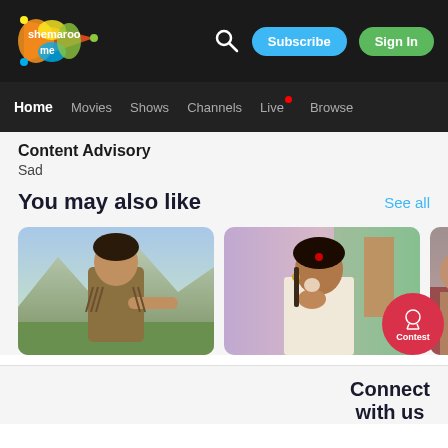shemaroo me — Subscribe | Sign In
Home | Movies | Shows | Channels | Live | Browse
Content Advisory
Sad
You may also like
See all
[Figure (photo): Thumbnail of a Bollywood actor outdoors in mountains, wearing a fringed costume, reaching toward camera]
[Figure (photo): Thumbnail of a Bollywood actress with red bindi, looking surprised with hand near mouth]
[Figure (photo): Partial thumbnail of a third Bollywood film, cut off on right edge]
Contest
Connect
with us